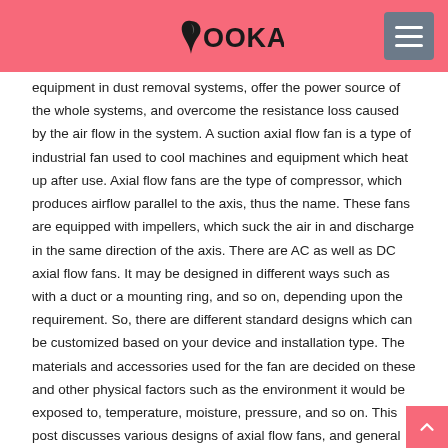BOOKAW
equipment in dust removal systems, offer the power source of the whole systems, and overcome the resistance loss caused by the air flow in the system. A suction axial flow fan is a type of industrial fan used to cool machines and equipment which heat up after use. Axial flow fans are the type of compressor, which produces airflow parallel to the axis, thus the name. These fans are equipped with impellers, which suck the air in and discharge in the same direction of the axis. There are AC as well as DC axial flow fans. It may be designed in different ways such as with a duct or a mounting ring, and so on, depending upon the requirement. So, there are different standard designs which can be customized based on your device and installation type. The materials and accessories used for the fan are decided on these and other physical factors such as the environment it would be exposed to, temperature, moisture, pressure, and so on. This post discusses various designs of axial flow fans, and general features.